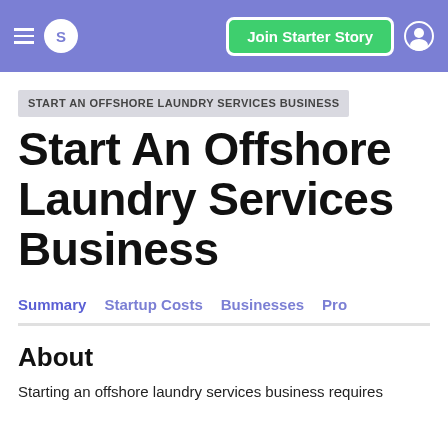Join Starter Story
START AN OFFSHORE LAUNDRY SERVICES BUSINESS
Start An Offshore Laundry Services Business
Summary | Startup Costs | Businesses | Pro
About
Starting an offshore laundry services business requires